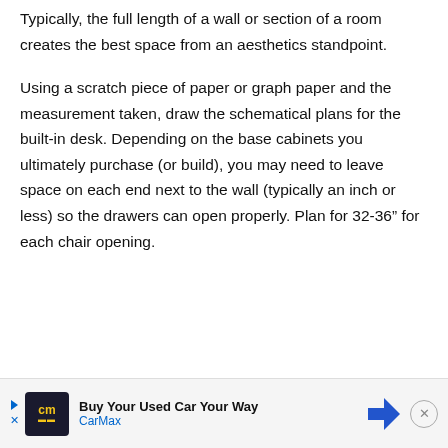Typically, the full length of a wall or section of a room creates the best space from an aesthetics standpoint.
Using a scratch piece of paper or graph paper and the measurement taken, draw the schematical plans for the built-in desk. Depending on the base cabinets you ultimately purchase (or build), you may need to leave space on each end next to the wall (typically an inch or less) so the drawers can open properly. Plan for 32-36” for each chair opening.
[Figure (other): Advertisement banner for CarMax: 'Buy Your Used Car Your Way' with CarMax logo and a blue navigation arrow icon.]